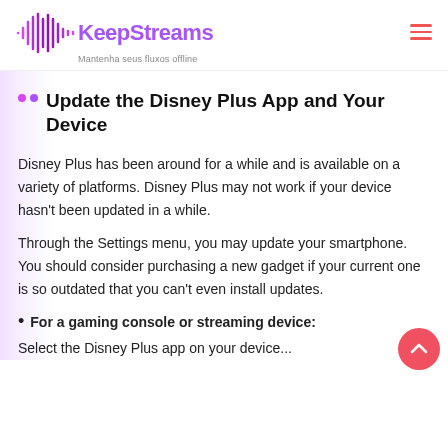KeepStreams — Mantenha seus fluxos offline
Update the Disney Plus App and Your Device
Disney Plus has been around for a while and is available on a variety of platforms. Disney Plus may not work if your device hasn't been updated in a while.
Through the Settings menu, you may update your smartphone. You should consider purchasing a new gadget if your current one is so outdated that you can't even install updates.
For a gaming console or streaming device:
Select the Disney Plus app on your device...